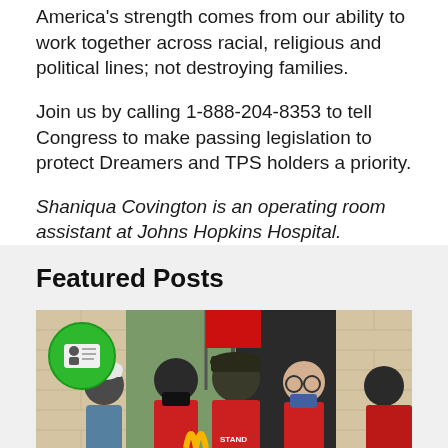America's strength comes from our ability to work together across racial, religious and political lines; not destroying families.
Join us by calling 1-888-204-8353 to tell Congress to make passing legislation to protect Dreamers and TPS holders a priority.
Shaniqua Covington is an operating room assistant at Johns Hopkins Hospital.
Featured Posts
[Figure (photo): Group of people in red shirts holding red flags standing in front of a McDonald's restaurant with brick exterior. A green circular badge icon with an ID/credential symbol is overlaid in the upper left corner.]